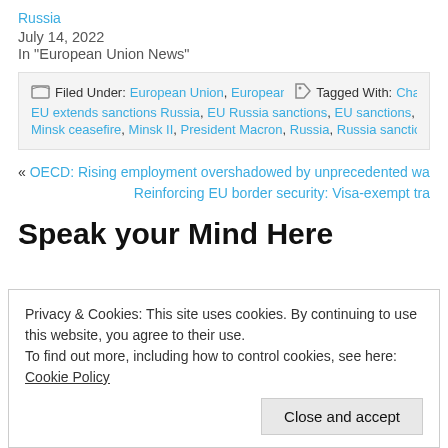Russia
July 14, 2022
In "European Union News"
Filed Under: European Union, European Union News   Tagged With: Chan EU extends sanctions Russia, EU Russia sanctions, EU sanctions, European Summi Minsk ceasefire, Minsk II, President Macron, Russia, Russia sanctions, sanctions
« OECD: Rising employment overshadowed by unprecedented wage st
Reinforcing EU border security: Visa-exempt tra
Speak your Mind Here
Privacy & Cookies: This site uses cookies. By continuing to use this website, you agree to their use.
To find out more, including how to control cookies, see here: Cookie Policy
Close and accept